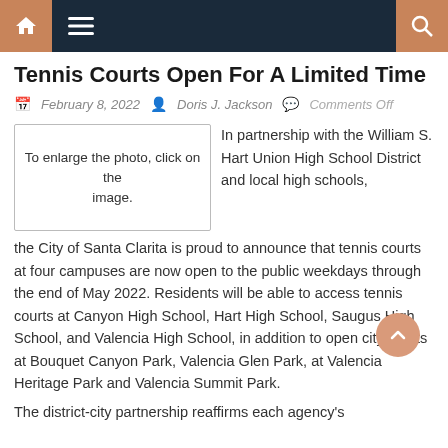Navigation bar with home, menu, and search icons
Tennis Courts Open For A Limited Time
February 8, 2022  Doris J. Jackson  Comments Off
[Figure (other): Photo placeholder box with text: To enlarge the photo, click on the image.]
In partnership with the William S. Hart Union High School District and local high schools, the City of Santa Clarita is proud to announce that tennis courts at four campuses are now open to the public weekdays through the end of May 2022. Residents will be able to access tennis courts at Canyon High School, Hart High School, Saugus High School, and Valencia High School, in addition to open city courts at Bouquet Canyon Park, Valencia Glen Park, at Valencia Heritage Park and Valencia Summit Park.
The district-city partnership reaffirms each agency's